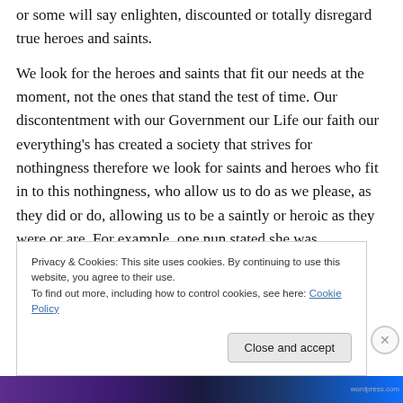or some will say enlighten, discounted or totally disregard true heroes and saints.
We look for the heroes and saints that fit our needs at the moment, not the ones that stand the test of time. Our discontentment with our Government our Life our faith our everything's has created a society that strives for nothingness therefore we look for saints and heroes who fit in to this nothingness, who allow us to do as we please, as they did or do, allowing us to be a saintly or heroic as they were or are. For example, one nun stated she was
Privacy & Cookies: This site uses cookies. By continuing to use this website, you agree to their use.
To find out more, including how to control cookies, see here: Cookie Policy
Close and accept